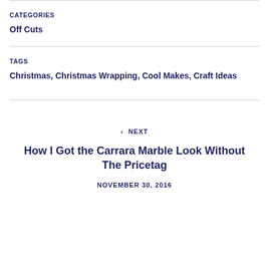CATEGORIES
Off Cuts
TAGS
Christmas, Christmas Wrapping, Cool Makes, Craft Ideas
‹ NEXT
How I Got the Carrara Marble Look Without The Pricetag
NOVEMBER 30, 2016